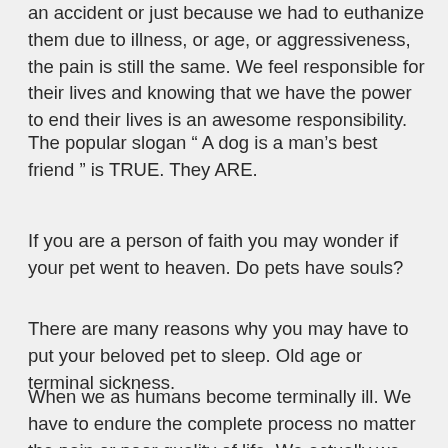an accident or just because we had to euthanize them due to illness, or age, or aggressiveness, the pain is still the same. We feel responsible for their lives and knowing that we have the power to end their lives is an awesome responsibility.
The popular slogan “ A dog is a man’s best friend ” is TRUE. They ARE.
If you are a person of faith you may wonder if your pet went to heaven. Do pets have souls?
There are many reasons why you may have to put your beloved pet to sleep. Old age or terminal sickness.
When we as humans become terminally ill. We have to endure the complete process no matter the pain or poor quality of life. We actually we treat animals better than we treat suffering and in pain humans.